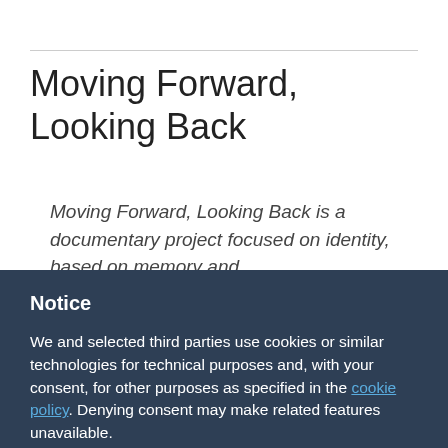Moving Forward, Looking Back
Moving Forward, Looking Back is a documentary project focused on identity, based on memory and
Notice
We and selected third parties use cookies or similar technologies for technical purposes and, with your consent, for other purposes as specified in the cookie policy. Denying consent may make related features unavailable.
Use the “Accept” button to consent to the use of such technologies. Use the “Reject” button to continue without accepting.
Reject
Accept
Learn more and customize